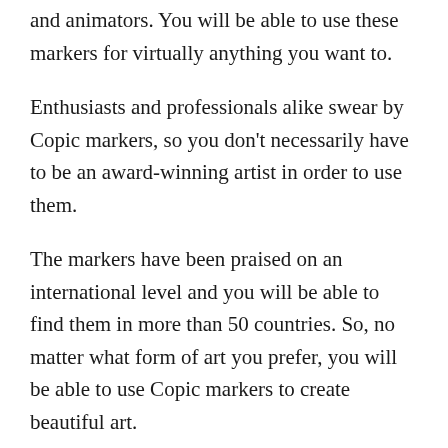and animators. You will be able to use these markers for virtually anything you want to.
Enthusiasts and professionals alike swear by Copic markers, so you don't necessarily have to be an award-winning artist in order to use them.
The markers have been praised on an international level and you will be able to find them in more than 50 countries. So, no matter what form of art you prefer, you will be able to use Copic markers to create beautiful art.
What to Know Before Buying Copic Markers